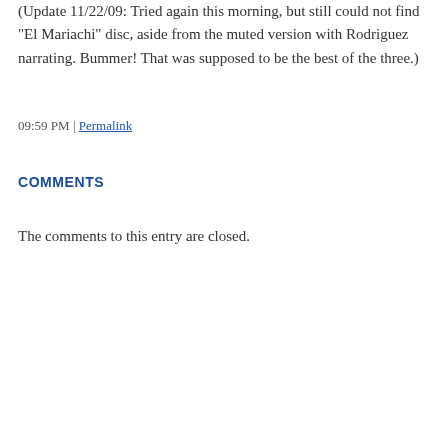(Update 11/22/09: Tried again this morning, but still could not find “El Mariachi” disc, aside from the muted version with Rodriguez narrating. Bummer! That was supposed to be the best of the three.)
09:59 PM | Permalink
COMMENTS
The comments to this entry are closed.